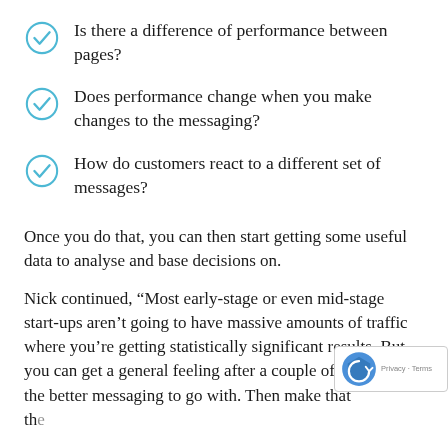Is there a difference of performance between pages?
Does performance change when you make changes to the messaging?
How do customers react to a different set of messages?
Once you do that, you can then start getting some useful data to analyse and base decisions on.
Nick continued, “Most early-stage or even mid-stage start-ups aren’t going to have massive amounts of traffic where you’re getting statistically significant results. But you can get a general feeling after a couple of weeks of the better messaging to go with. Then make that th…